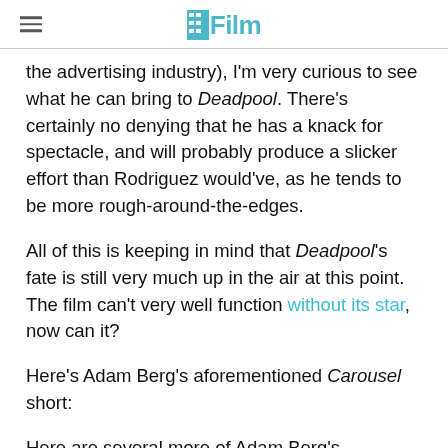/Film
the advertising industry), I'm very curious to see what he can bring to Deadpool. There's certainly no denying that he has a knack for spectacle, and will probably produce a slicker effort than Rodriguez would've, as he tends to be more rough-around-the-edges.
All of this is keeping in mind that Deadpool's fate is still very much up in the air at this point. The film can't very well function without its star, now can it?
Here's Adam Berg's aforementioned Carousel short:
Here are several more of Adam Berg's commercial spots: